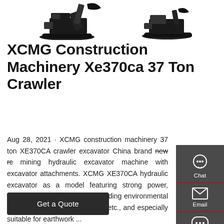[Figure (photo): Three XCMG crawler excavators shown from above/side — two main units and components visible on white background]
XCMG Construction Machinery Xe370ca 37 Ton Crawler
Aug 28, 2021 · XCMG construction machinery 37 ton XE370CA crawler excavator China brand new rc mining hydraulic excavator machine with excavator attachments. XCMG XE370CA hydraulic excavator as a model featuring strong power, excellent energy saving, outstanding environmental protection and strong durability, etc., and especially suitable for earthwork ...
[Figure (other): Sidebar widget with Chat, Email, and Contact icons on dark grey background]
Get a Quote